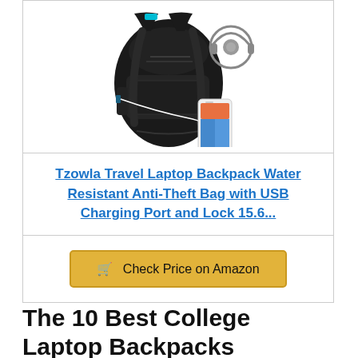[Figure (photo): Black laptop backpack with USB charging port shown with headphones and a smartphone connected via white cable]
Tzowla Travel Laptop Backpack Water Resistant Anti-Theft Bag with USB Charging Port and Lock 15.6...
🛒 Check Price on Amazon
The 10 Best College Laptop Backpacks Recommendations